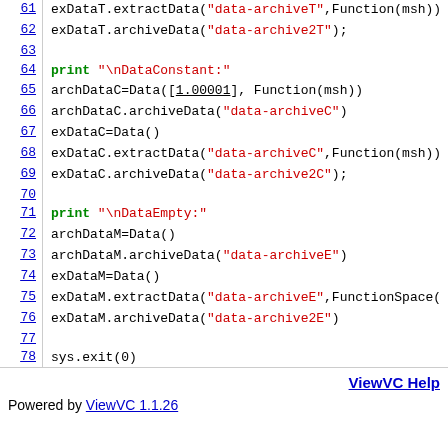Code listing lines 61-79 showing Python-like script with archive data operations
ViewVC Help | Powered by ViewVC 1.1.26